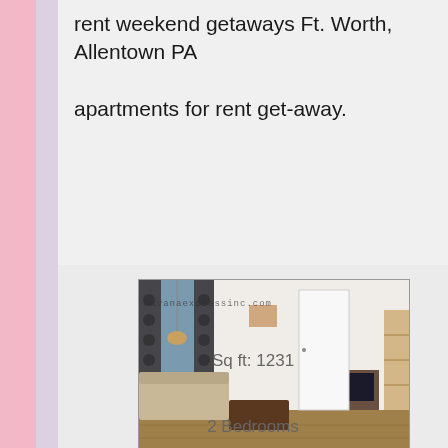rent weekend getaways Ft. Worth, Allentown PA
apartments for rent get-away.
[Figure (photo): Interior photo of an apartment living room with sofa, coffee table, TV stand, curtains, and shelving unit. Watermarks: 'havanaexpressinc.com' at top and partially visible text at bottom.]
Sq ft: 1231
2 Bedrooms